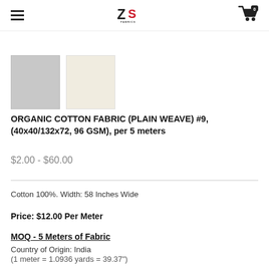ZS Fabrics
[Figure (photo): Two fabric swatches: one light gray cotton and one cream/off-white cotton fabric sample]
ORGANIC COTTON FABRIC (PLAIN WEAVE) #9, (40x40/132x72, 96 GSM), per 5 meters
$2.00 - $60.00
Cotton 100%. Width: 58 Inches Wide
Price: $12.00 Per Meter
MOQ - 5 Meters of Fabric
Country of Origin: India
(1 meter = 1.0936 yards = 39.37")